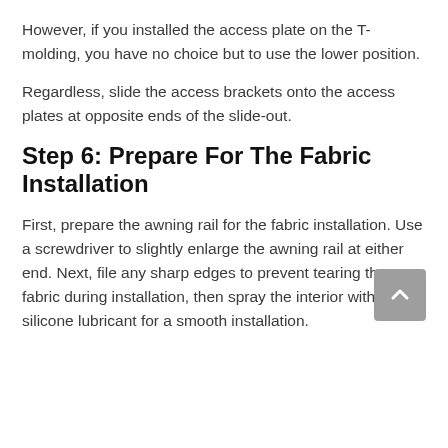However, if you installed the access plate on the T-molding, you have no choice but to use the lower position.
Regardless, slide the access brackets onto the access plates at opposite ends of the slide-out.
Step 6: Prepare For The Fabric Installation
First, prepare the awning rail for the fabric installation. Use a screwdriver to slightly enlarge the awning rail at either end. Next, file any sharp edges to prevent tearing the fabric during installation, then spray the interior with a silicone lubricant for a smooth installation.